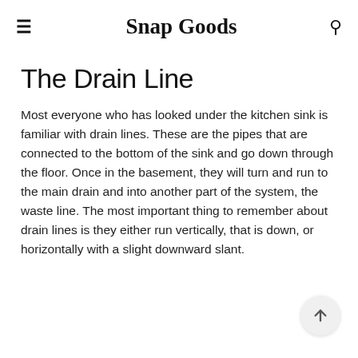≡  Snap Goods  🔍
The Drain Line
Most everyone who has looked under the kitchen sink is familiar with drain lines. These are the pipes that are connected to the bottom of the sink and go down through the floor. Once in the basement, they will turn and run to the main drain and into another part of the system, the waste line. The most important thing to remember about drain lines is they either run vertically, that is down, or horizontally with a slight downward slant.